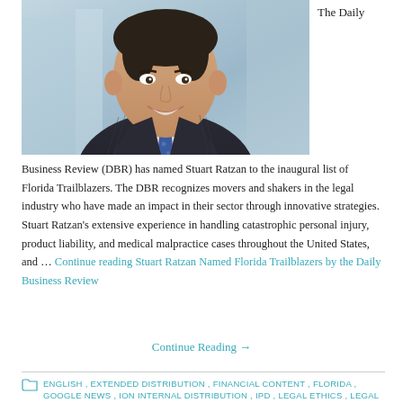[Figure (photo): Professional headshot of a middle-aged man in a dark pinstripe suit and blue dotted tie, smiling, against a blurred blue office background.]
The Daily
Business Review (DBR) has named Stuart Ratzan to the inaugural list of Florida Trailblazers. The DBR recognizes movers and shakers in the legal industry who have made an impact in their sector through innovative strategies. Stuart Ratzan's extensive experience in handling catastrophic personal injury, product liability, and medical malpractice cases throughout the United States, and … Continue reading Stuart Ratzan Named Florida Trailblazers by the Daily Business Review
Continue Reading →
ENGLISH, EXTENDED DISTRIBUTION, FINANCIAL CONTENT, FLORIDA, GOOGLE NEWS, ION INTERNAL DISTRIBUTION, IPD, LEGAL ETHICS, LEGAL NEWSWIRE, LEGAL